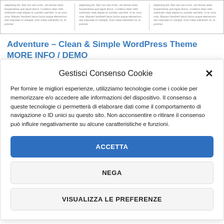[Figure (screenshot): Three-column layout preview of a WordPress theme with Lorem Ipsum placeholder text in each column, separated by vertical dividers, inside a bordered box.]
Adventure – Clean & Simple WordPress Theme MORE INFO / DEMO
Gestisci Consenso Cookie
Per fornire le migliori esperienze, utilizziamo tecnologie come i cookie per memorizzare e/o accedere alle informazioni del dispositivo. Il consenso a queste tecnologie ci permetterà di elaborare dati come il comportamento di navigazione o ID unici su questo sito. Non acconsentire o ritirare il consenso può influire negativamente su alcune caratteristiche e funzioni.
ACCETTA
NEGA
VISUALIZZA LE PREFERENZE